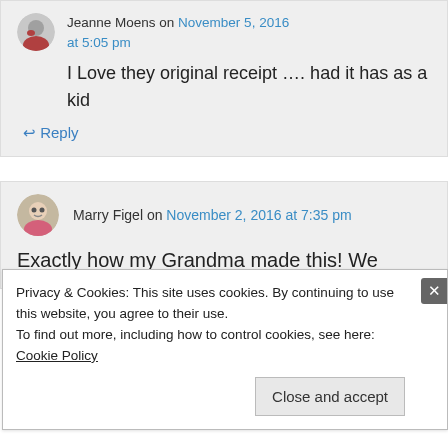Jeanne Moens on November 5, 2016 at 5:05 pm
I Love they original receipt …. had it has as a kid
↩ Reply
Marry Figel on November 2, 2016 at 7:35 pm
Exactly how my Grandma made this! We
Privacy & Cookies: This site uses cookies. By continuing to use this website, you agree to their use.
To find out more, including how to control cookies, see here: Cookie Policy
Close and accept